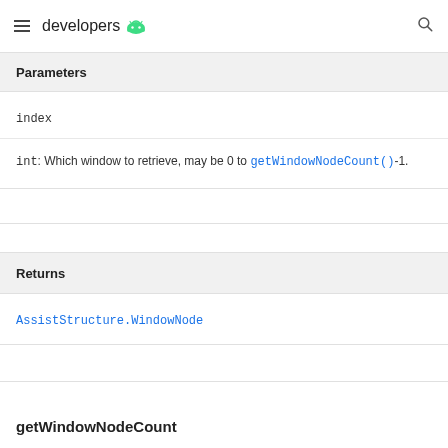developers
Parameters
index
int: Which window to retrieve, may be 0 to getWindowNodeCount()-1.
Returns
AssistStructure.WindowNode
getWindowNodeCount